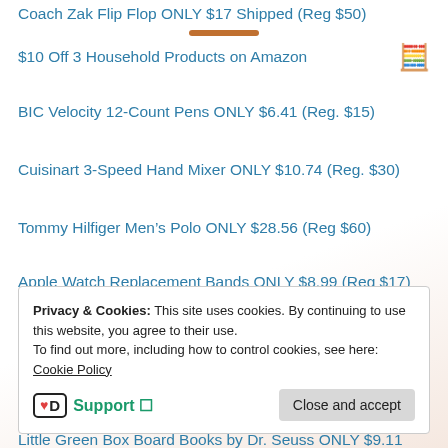Coach Zak Flip Flop ONLY $17 Shipped (Reg $50)
$10 Off 3 Household Products on Amazon
BIC Velocity 12-Count Pens ONLY $6.41 (Reg. $15)
Cuisinart 3-Speed Hand Mixer ONLY $10.74 (Reg. $30)
Tommy Hilfiger Men's Polo ONLY $28.56 (Reg $60)
Apple Watch Replacement Bands ONLY $8.99 (Reg $17) Shipped
Electric Portable Balloon Pump ONLY $19.99 (Reg $40)
Up to 55% Off WOW Hair and Skin Products
Privacy & Cookies: This site uses cookies. By continuing to use this website, you agree to their use.
To find out more, including how to control cookies, see here: Cookie Policy
Little Green Box Board Books by Dr. Seuss ONLY $9.11 (Reg. $20)